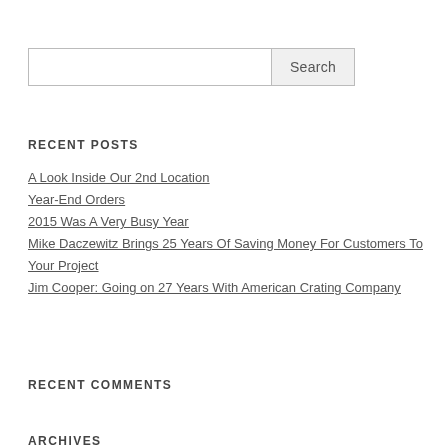RECENT POSTS
A Look Inside Our 2nd Location
Year-End Orders
2015 Was A Very Busy Year
Mike Daczewitz Brings 25 Years Of Saving Money For Customers To Your Project
Jim Cooper: Going on 27 Years With American Crating Company
RECENT COMMENTS
ARCHIVES